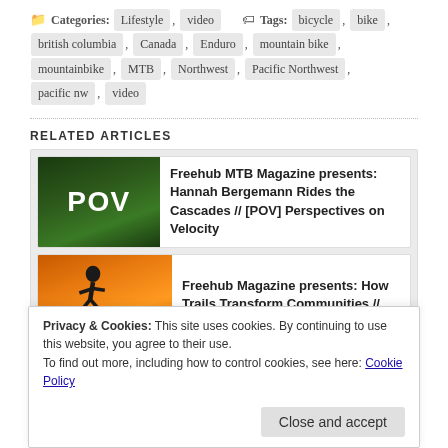Categories: Lifestyle , video   Tags: bicycle , bike , british columbia , Canada , Enduro , mountain bike , mountainbike , MTB , Northwest , Pacific Northwest , pacific nw , video
RELATED ARTICLES
[Figure (screenshot): Thumbnail image with green forest background and white bold text 'POV']
Freehub MTB Magazine presents: Hannah Bergemann Rides the Cascades // [POV] Perspectives on Velocity
[Figure (screenshot): Thumbnail with orange/sunset gradient background, cyclist silhouette, and Biketown title text]
Freehub Magazine presents: How Trails Transform Communities // Biketown
Privacy & Cookies: This site uses cookies. By continuing to use this website, you agree to their use.
To find out more, including how to control cookies, see here: Cookie Policy
Close and accept